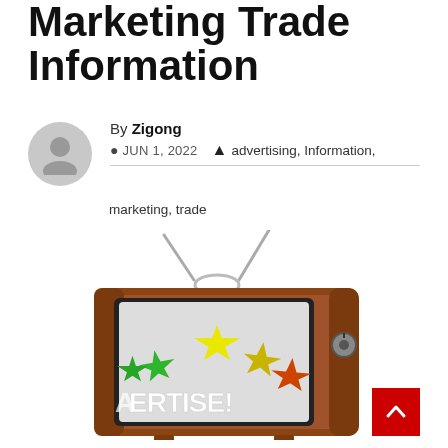Marketing Trade Information
By Zigong
JUN 1, 2022  advertising, Information, marketing, trade
[Figure (illustration): A retro wooden television set with two metal antennas, displaying colorful star shapes and the text 'ADVERTISE!' on its screen, with a dial on the right side.]